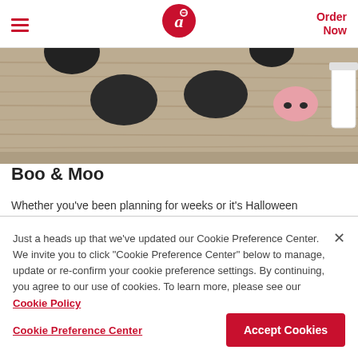Chick-fil-A header with hamburger menu, logo, and Order Now link
[Figure (photo): Chick-fil-A Boo & Moo Halloween themed craft items on a wood background — black spots, a pink pig nose cut-out piece]
Boo & Moo
Whether you've been planning for weeks or it's Halloween
Just a heads up that we've updated our Cookie Preference Center. We invite you to click "Cookie Preference Center" below to manage, update or re-confirm your cookie preference settings. By continuing, you agree to our use of cookies. To learn more, please see our Cookie Policy
Cookie Preference Center
Accept Cookies